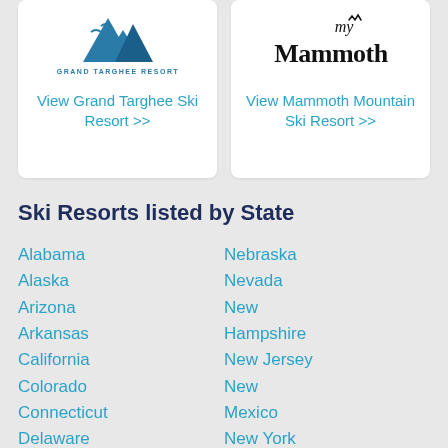[Figure (logo): Grand Targhee Resort logo with mountain peaks icon and text]
View Grand Targhee Ski Resort >>
[Figure (logo): My Mammoth Mountain Ski Resort logo with handwritten 'my' accent]
View Mammoth Mountain Ski Resort >>
Ski Resorts listed by State
Alabama
Alaska
Arizona
Arkansas
California
Colorado
Connecticut
Delaware
Florida
Nebraska
Nevada
New Hampshire
New Jersey
New Mexico
New York
North